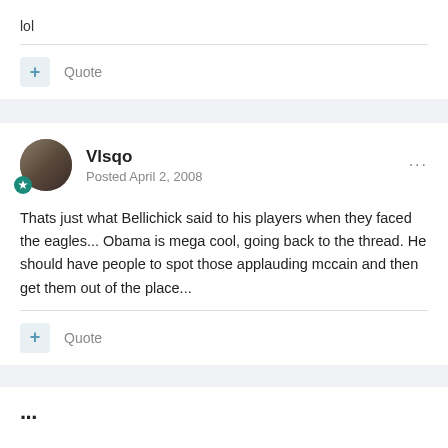lol
Quote
Vlsqo
Posted April 2, 2008
Thats just what Bellichick said to his players when they faced the eagles... Obama is mega cool, going back to the thread. He should have people to spot those applauding mccain and then get them out of the place...
Quote